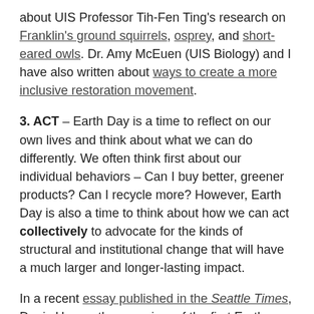about UIS Professor Tih-Fen Ting's research on Franklin's ground squirrels, osprey, and short-eared owls. Dr. Amy McEuen (UIS Biology) and I have also written about ways to create a more inclusive restoration movement.
3. ACT – Earth Day is a time to reflect on our own lives and think about what we can do differently. We often think first about our individual behaviors – Can I buy better, greener products? Can I recycle more? However, Earth Day is also a time to think about how we can act collectively to advocate for the kinds of structural and institutional change that will have a much larger and longer-lasting impact.
In a recent essay published in the Seattle Times, Denis Hayes, the organizer of the first Earth